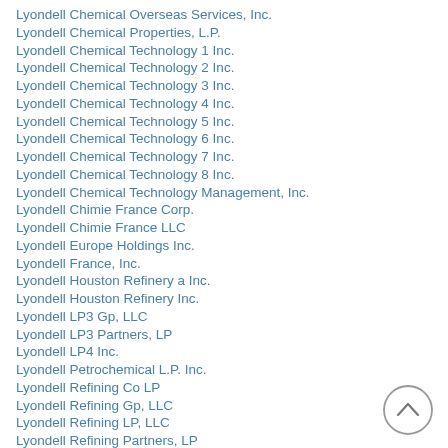Lyondell Chemical Overseas Services, Inc.
Lyondell Chemical Properties, L.P.
Lyondell Chemical Technology 1 Inc.
Lyondell Chemical Technology 2 Inc.
Lyondell Chemical Technology 3 Inc.
Lyondell Chemical Technology 4 Inc.
Lyondell Chemical Technology 5 Inc.
Lyondell Chemical Technology 6 Inc.
Lyondell Chemical Technology 7 Inc.
Lyondell Chemical Technology 8 Inc.
Lyondell Chemical Technology Management, Inc.
Lyondell Chimie France Corp.
Lyondell Chimie France LLC
Lyondell Europe Holdings Inc.
Lyondell France, Inc.
Lyondell Houston Refinery a Inc.
Lyondell Houston Refinery Inc.
Lyondell LP3 Gp, LLC
Lyondell LP3 Partners, LP
Lyondell LP4 Inc.
Lyondell Petrochemical L.P. Inc.
Lyondell Refining Co LP
Lyondell Refining Gp, LLC
Lyondell Refining LP, LLC
Lyondell Refining Partners, LP